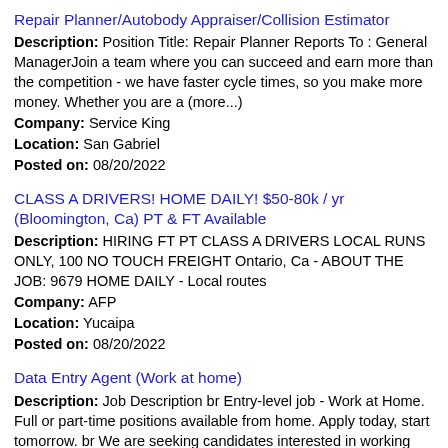Repair Planner/Autobody Appraiser/Collision Estimator
Description: Position Title: Repair Planner Reports To : General ManagerJoin a team where you can succeed and earn more than the competition - we have faster cycle times, so you make more money. Whether you are a (more...)
Company: Service King
Location: San Gabriel
Posted on: 08/20/2022
CLASS A DRIVERS! HOME DAILY! $50-80k / yr (Bloomington, Ca) PT & FT Available
Description: HIRING FT PT CLASS A DRIVERS LOCAL RUNS ONLY, 100 NO TOUCH FREIGHT Ontario, Ca - ABOUT THE JOB: 9679 HOME DAILY - Local routes
Company: AFP
Location: Yucaipa
Posted on: 08/20/2022
Data Entry Agent (Work at home)
Description: Job Description br Entry-level job - Work at Home. Full or part-time positions available from home. Apply today, start tomorrow. br We are seeking candidates interested in working with companies
Company: Latest Jobs Today